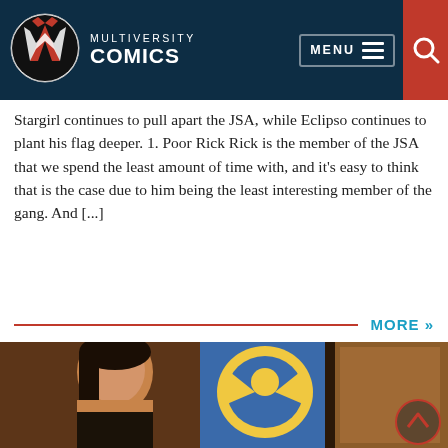MULTIVERSITY COMICS
Stargirl continues to pull apart the JSA, while Eclipso continues to plant his flag deeper. 1. Poor Rick Rick is the member of the JSA that we spend the least amount of time with, and it's easy to think that is the case due to him being the least interesting member of the gang. And [...]
MORE »
[Figure (photo): A young woman with dark hair looking sideways, in front of a school gymnasium mural featuring an eagle mascot. Scene appears to be from the TV show Stargirl.]